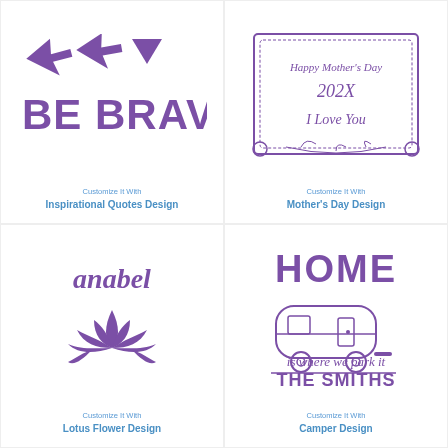[Figure (illustration): Purple 'BE BRAVE' inspirational quote design with arrow graphics above the text]
Customize It With
Inspirational Quotes Design
[Figure (illustration): Purple decorative frame with floral/leaf motifs and text 'Happy Mother's Day 202X I Love You' inside]
Customize It With
Mother's Day Design
[Figure (illustration): Purple script 'anabel' name above a lotus flower design]
Customize It With
Lotus Flower Design
[Figure (illustration): Purple 'HOME is where we park it THE SMITHS' camper/RV design]
Customize It With
Camper Design